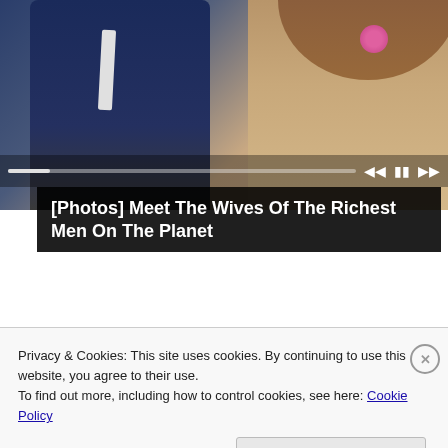[Figure (photo): Video player showing a couple — a man in a navy suit and a woman in a lace outfit with a pink flower — with playback controls and progress bar overlay]
[Photos] Meet The Wives Of The Richest Men On The Planet
[Figure (photo): Thumbnail photo of Robert Redford and his partner, with reddish-brown hair outdoors]
[Photos] At 85, Robert Redford Lives In This Modest House With His Partner
Privacy & Cookies: This site uses cookies. By continuing to use this website, you agree to their use.
To find out more, including how to control cookies, see here: Cookie Policy